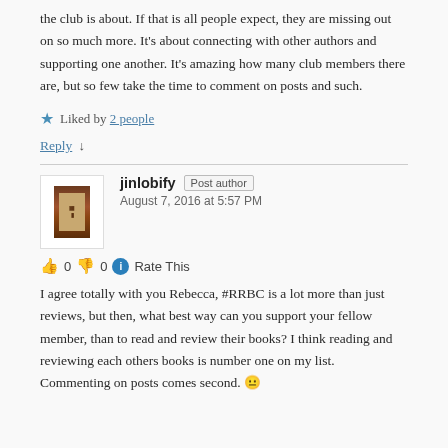the club is about. If that is all people expect, they are missing out on so much more. It's about connecting with other authors and supporting one another. It's amazing how many club members there are, but so few take the time to comment on posts and such.
Liked by 2 people
Reply ↓
jinlobify Post author August 7, 2016 at 5:57 PM
👍 0 👎 0 ℹ Rate This
I agree totally with you Rebecca, #RRBC is a lot more than just reviews, but then, what best way can you support your fellow member, than to read and review their books? I think reading and reviewing each others books is number one on my list. Commenting on posts comes second. 😐